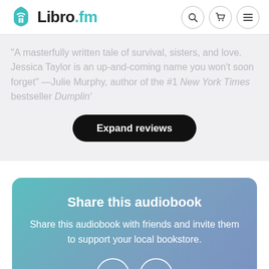Libro.fm
"A masterfully written tale of survival, sisters, and love. Jessica Taylor is an up-and-coming name you won't soon forget" —Julie Murphy, author of the #1 New York Times bestseller Dumplin'
Expand reviews
Share this audiobook
Share this audiobook with friends and invite them to support your local bookstore.